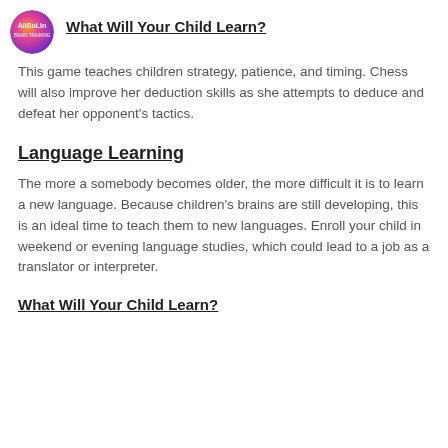[Figure (logo): AllSoLin circular logo with gradient pink-orange-purple]
What Will Your Child Learn?
This game teaches children strategy, patience, and timing. Chess will also improve her deduction skills as she attempts to deduce and defeat her opponent's tactics.
Language Learning
The more a somebody becomes older, the more difficult it is to learn a new language. Because children's brains are still developing, this is an ideal time to teach them to new languages. Enroll your child in weekend or evening language studies, which could lead to a job as a translator or interpreter.
What Will Your Child Learn?